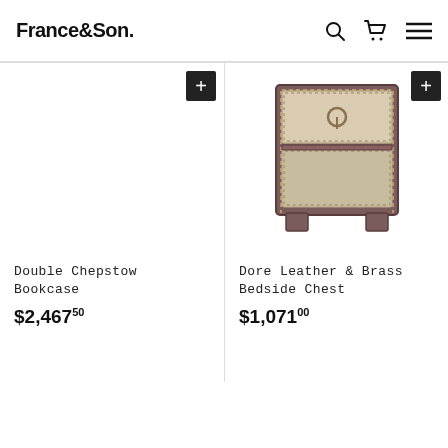France&Son
[Figure (screenshot): E-commerce product listing showing furniture items: Double Chepstow Bookcase at $2,467.50, Dore Leather & Brass Bedside Chest at $1,071.00, and a partial view of Dore Two (third item) at $1,110]
Double Chepstow Bookcase
$2,46750
Dore Leather & Brass Bedside Chest
$1,07100
Dore Tw
$1,110
Products in real life